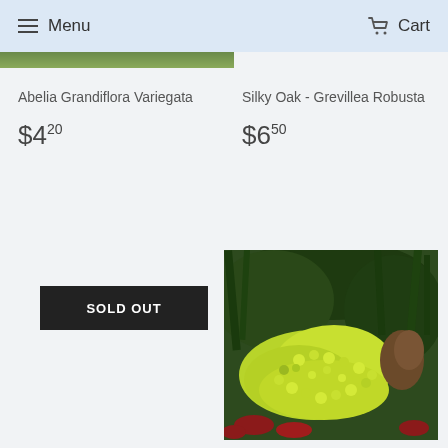Menu   Cart
Abelia Grandiflora Variegata
$4.20
Silky Oak - Grevillea Robusta
$6.50
SOLD OUT
[Figure (photo): Photo of a plant with bright yellow-green rounded foliage clusters growing among red flowers and green grass-like plants in a garden setting]